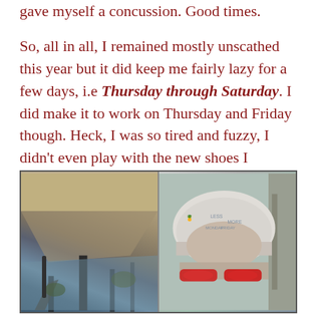also another bathroom fall but that time I gave myself a concussion. Good times.

So, all in all, I remained mostly unscathed this year but it did keep me fairly lazy for a few days, i.e Thursday through Saturday. I did make it to work on Thursday and Friday though. Heck, I was so tired and fuzzy, I didn't even play with the new shoes I received on Wednesday.
[Figure (photo): Two side-by-side photos: left shows underside of a bridge/overpass with desert vegetation below; right shows a person wearing a white trucker hat with a pineapple logo and red mirrored sunglasses with a guardrail in the background.]